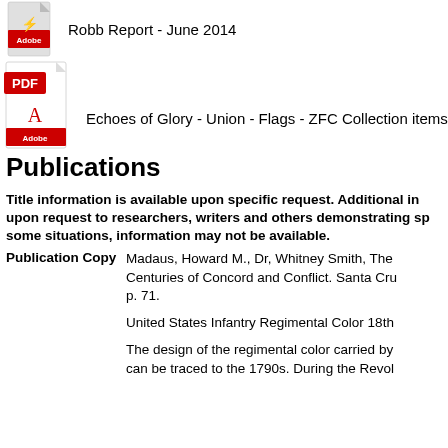[Figure (logo): Adobe PDF icon (small, grey document with red Adobe logo)]
Robb Report - June 2014
[Figure (logo): Adobe PDF icon (large, white document with red PDF label and red Adobe logo)]
Echoes of Glory - Union - Flags - ZFC Collection items
Publications
Title information is available upon specific request. Additional information is available upon request to researchers, writers and others demonstrating specific needs. In some situations, information may not be available.
Publication Copy    Madaus, Howard M., Dr, Whitney Smith, The... Centuries of Concord and Conflict. Santa Cru... p. 71.

United States Infantry Regimental Color 18th...

The design of the regimental color carried by... can be traced to the 1790s. During the Revol...